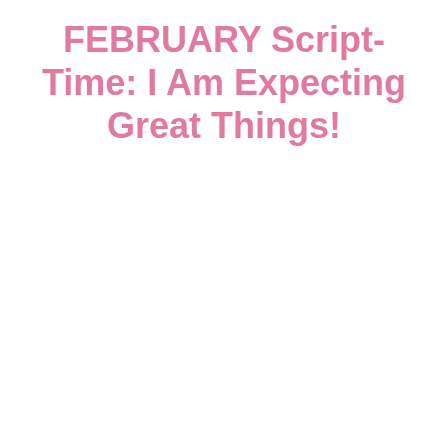FEBRUARY Script-Time: I Am Expecting Great Things!